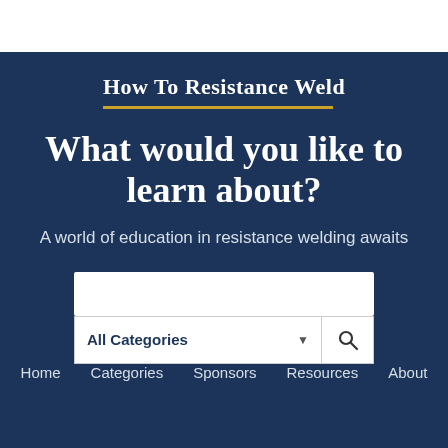How To Resistance Weld
What would you like to learn about?
A world of education in resistance welding awaits
[Figure (screenshot): Search bar with text input field and All Categories dropdown with search button]
Home   Categories   Sponsors   Resources   About